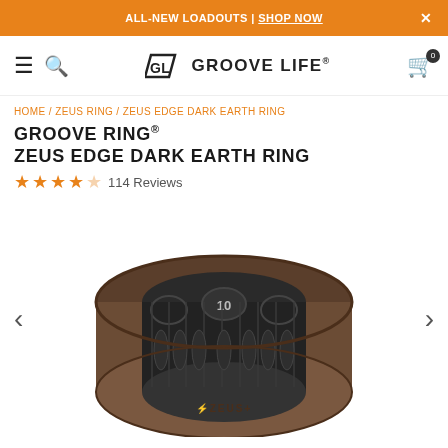ALL-NEW LOADOUTS | SHOP NOW
[Figure (logo): Groove Life logo with stylized GL symbol and text GROOVE LIFE]
HOME / ZEUS RING / ZEUS EDGE DARK EARTH RING
GROOVE RING® ZEUS EDGE DARK EARTH RING
★★★★☆ 114 Reviews
[Figure (photo): Brown silicone Zeus Edge Dark Earth Ring shown from a top-front angle, displaying the interior honeycomb pattern with size 10 marked, and ZEUS+ text on the exterior bottom]